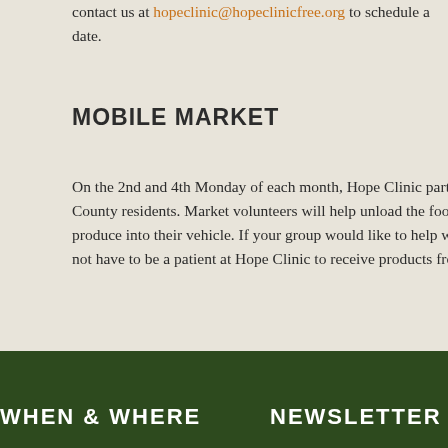contact us at hopeclinic@hopeclinicfree.org to schedule a date.
MOBILE MARKET
On the 2nd and 4th Monday of each month, Hope Clinic partners with Mid-Ohio Food Bank to provide a mobile food market for Ross County residents. Market volunteers will help unload the food truck, assist clients as they receive their food and help them load the produce into their vehicle. If your group would like to help with Mobile Market, please contact jeannette@hopeclinicfree.org. You do not have to be a patient at Hope Clinic to receive products from the Mobile Market.
Volunte need of.
If you a ways yo
Inclu
Enco chur
DONA
Make H To mak
WHEN & WHERE
NEWSLETTER